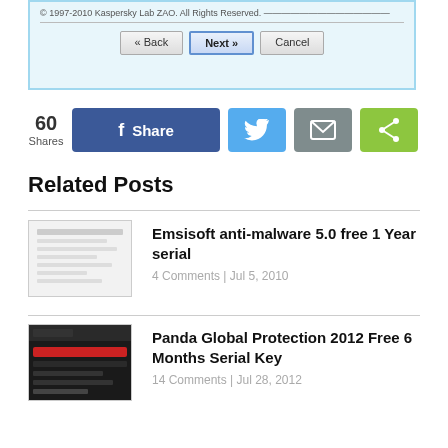[Figure (screenshot): Kaspersky installer dialog with Back, Next, Cancel buttons. Copyright: © 1997-2010 Kaspersky Lab ZAO. All Rights Reserved.]
60 Shares — Share (Facebook, Twitter, Email, Generic share buttons)
Related Posts
[Figure (photo): Thumbnail for Emsisoft anti-malware article]
Emsisoft anti-malware 5.0 free 1 Year serial
4 Comments | Jul 5, 2010
[Figure (screenshot): Thumbnail for Panda Global Protection 2012 article - dark UI screenshot]
Panda Global Protection 2012 Free 6 Months Serial Key
14 Comments | Jul 28, 2012
[Figure (other): No preview placeholder thumbnail]
Multiple virus scan On Windows Computer
No Comments | May 24, 2010
[Figure (screenshot): Thumbnail for Bitdefender Total Security 2018 article - dark antivirus UI]
Bitdefender Total Security 2018 Free Download 90 Days Trial License Key